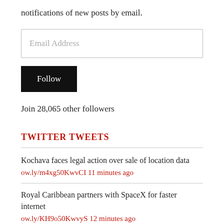notifications of new posts by email.
[Figure (other): Email address input field with placeholder text 'Email Address']
[Figure (other): Follow button, black background with white text]
Join 28,065 other followers
TWITTER TWEETS
Kochava faces legal action over sale of location data
ow.ly/m4xg50KwvCI 11 minutes ago
Royal Caribbean partners with SpaceX for faster internet
ow.ly/KH9o50KwvyS 12 minutes ago